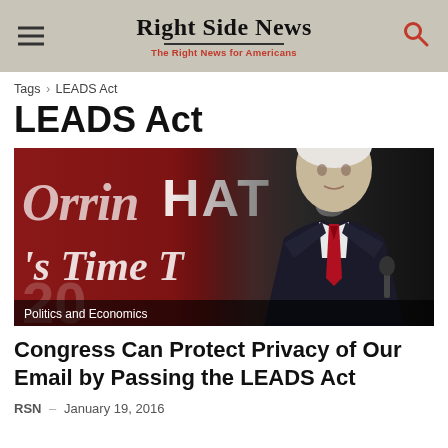Right Side News — The Right News for Americans
Tags › LEADS Act
LEADS Act
[Figure (photo): Man in dark suit with red tie speaking at a podium in front of a red banner reading 'Orrin Hatch' and "It's Time T..." with caption overlay 'Politics and Economics']
Congress Can Protect Privacy of Our Email by Passing the LEADS Act
RSN – January 19, 2016